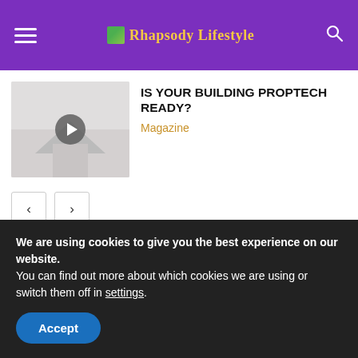Rhapsody Lifestyle
IS YOUR BUILDING PROPTECH READY?
Magazine
POPULAR CATEGORIES
NEWS 495
We are using cookies to give you the best experience on our website.
You can find out more about which cookies we are using or switch them off in settings.
Accept